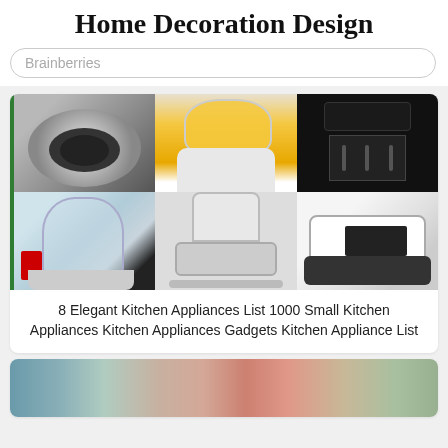Home Decoration Design
Brainberries
[Figure (photo): Collage of six kitchen appliances: rice cooker, yellow-liquid kettle/blender, black coffee maker, glass electric kettle, food processor, and knife sharpener]
8 Elegant Kitchen Appliances List 1000 Small Kitchen Appliances Kitchen Appliances Gadgets Kitchen Appliance List
[Figure (photo): Partial image of colorful fabric or textile items in teal, cream, dark red/burgundy, and salmon/pink tones]